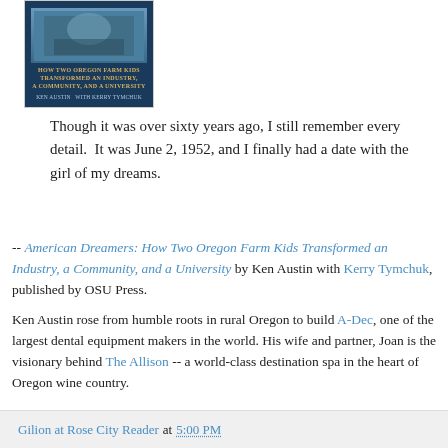[Figure (illustration): Book cover of 'American Dreamers: How Two Oregon Farm Kids Transformed an Industry, a Community, and a University' by Ken Austin with Kerry Tymchuk. Dark blue cover with subtitle text in gold and figure image.]
Though it was over sixty years ago, I still remember every detail.  It was June 2, 1952, and I finally had a date with the girl of my dreams.
-- American Dreamers: How Two Oregon Farm Kids Transformed an Industry, a Community, and a University by Ken Austin with Kerry Tymchuk, published by OSU Press.
Ken Austin rose from humble roots in rural Oregon to build A-Dec, one of the largest dental equipment makers in the world. His wife and partner, Joan is the visionary behind The Allison -- a world-class destination spa in the heart of Oregon wine country.
Gilion at Rose City Reader at 5:00 PM